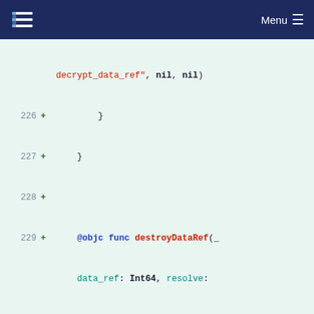Menu
Code diff showing Swift functions destroyDataRef and @objc func, lines 226-239
[Figure (screenshot): Code diff view showing Swift source code lines 226-239 with syntax highlighting on a light green background. Shows destroyDataRef function implementation.]